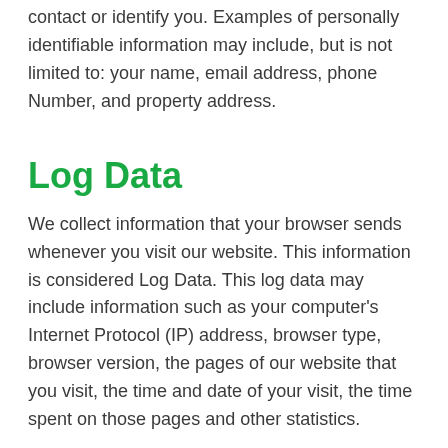contact or identify you. Examples of personally identifiable information may include, but is not limited to: your name, email address, phone Number, and property address.
Log Data
We collect information that your browser sends whenever you visit our website. This information is considered Log Data. This log data may include information such as your computer's Internet Protocol (IP) address, browser type, browser version, the pages of our website that you visit, the time and date of your visit, the time spent on those pages and other statistics.